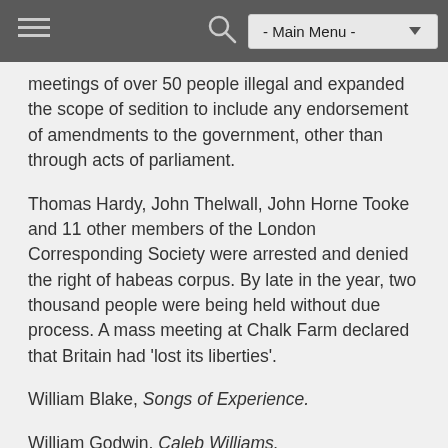- Main Menu -
meetings of over 50 people illegal and expanded the scope of sedition to include any endorsement of amendments to the government, other than through acts of parliament.
Thomas Hardy, John Thelwall, John Horne Tooke and 11 other members of the London Corresponding Society were arrested and denied the right of habeas corpus. By late in the year, two thousand people were being held without due process. A mass meeting at Chalk Farm declared that Britain had 'lost its liberties'.
William Blake, Songs of Experience.
William Godwin, Caleb Williams.
Thomas Paine, The Age of Reason